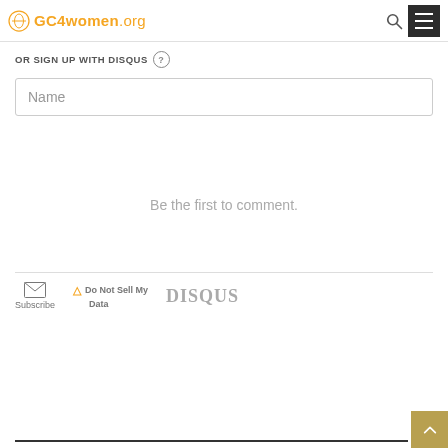GC4women.org
OR SIGN UP WITH DISQUS
Name
Be the first to comment.
Subscribe
Do Not Sell My Data
DISQUS